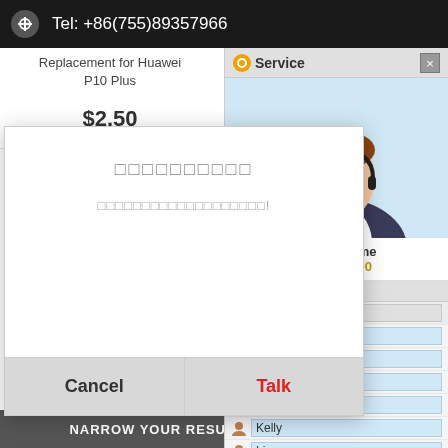Tel: +86(755)89357966
Replacement for Huawei P10 Plus
$2.50
Front Screen Outer Glass Lens, Support Fingerprint
$
[Figure (screenshot): Customer service chat popup with agent photo, service time 09:00-18:00, and agent list including Henry, Erica, Tina, Maggie, Jeanie, Kelly, Lisa under POP800(7), and Skype(3)]
Service Time 09:00-18:00
□□□□□□□□□□
□□□□□□□□□□□□□□□□□□□!
Cancel
Talk
OR For H
Front Scre
Lens, Support Fingerprint
$6.08
$2.7
NARROW YOUR RESULTS